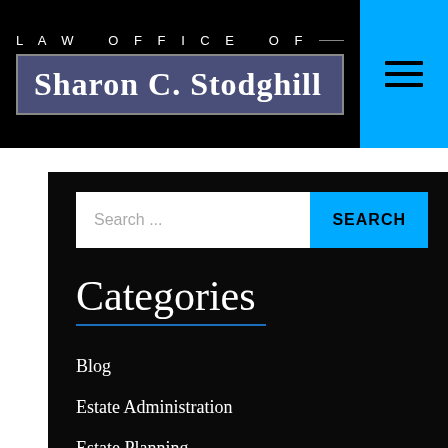LAW OFFICE OF Sharon C. Stodghill
Search ...
Categories
Blog
Estate Administration
Estate Planning
Executors & Fiduciaries
Firm News
Heirs & Beneficiaries